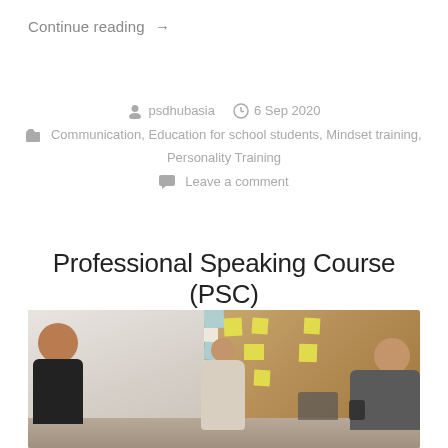Continue reading →
psdhubasia  6 Sep 2020
Communication, Education for school students, Mindset training, Personality Training
Leave a comment
Professional Speaking Course (PSC)
[Figure (photo): A woman presenter in a beige blazer standing in front of a cork board with sticky notes, smiling at a group of seated participants around a table in a meeting/training room.]